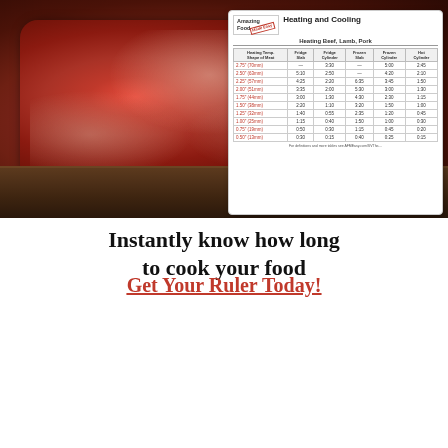[Figure (photo): Photo of a raw beef steak on a dark cutting board, with an overlay card showing a heating and cooling time table for beef, lamb, and pork sous vide cooking.]
Instantly know how long to cook your food
Get Your Ruler Today!
[Figure (illustration): Book cover for 'Modernist Cooking Made Easy: Sous Vide – The Authoritative Guide to Low Temperature Precision Cooking' with a Best Seller badge and water background.]